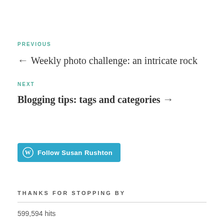PREVIOUS
← Weekly photo challenge: an intricate rock
NEXT
Blogging tips: tags and categories →
[Figure (other): WordPress Follow button — Follow Susan Rushton]
THANKS FOR STOPPING BY
599,594 hits